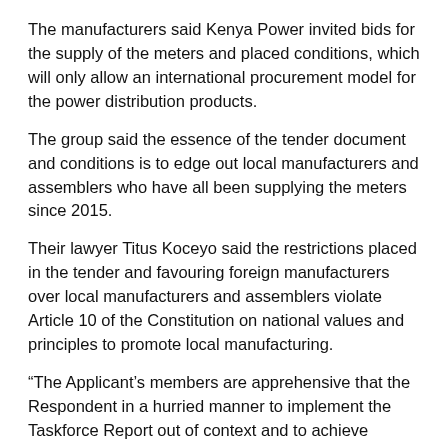The manufacturers said Kenya Power invited bids for the supply of the meters and placed conditions, which will only allow an international procurement model for the power distribution products.
The group said the essence of the tender document and conditions is to edge out local manufacturers and assemblers who have all been supplying the meters since 2015.
Their lawyer Titus Koceyo said the restrictions placed in the tender and favouring foreign manufacturers over local manufacturers and assemblers violate Article 10 of the Constitution on national values and principles to promote local manufacturing.
“The Applicant’s members are apprehensive that the Respondent in a hurried manner to implement the Taskforce Report out of context and to achieve ulterior motives inserted conditions in the impugned Tender whose net effect is to disqualify the members of the Applicant from participating in the Tender,” he said in his submissions.
If not stopped, the local manufacturers said they will suffer losses and damages as their factories and manufacturing plants will be